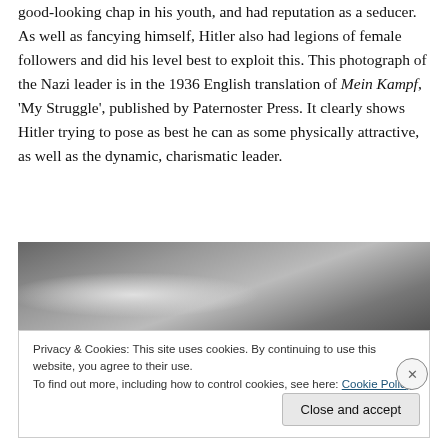good-looking chap in his youth, and had reputation as a seducer. As well as fancying himself, Hitler also had legions of female followers and did his level best to exploit this. This photograph of the Nazi leader is in the 1936 English translation of Mein Kampf, 'My Struggle', published by Paternoster Press. It clearly shows Hitler trying to pose as best he can as some physically attractive, as well as the dynamic, charismatic leader.
[Figure (photo): A dark greyscale photograph, partially visible, showing an indistinct grayscale image.]
Privacy & Cookies: This site uses cookies. By continuing to use this website, you agree to their use.
To find out more, including how to control cookies, see here: Cookie Policy